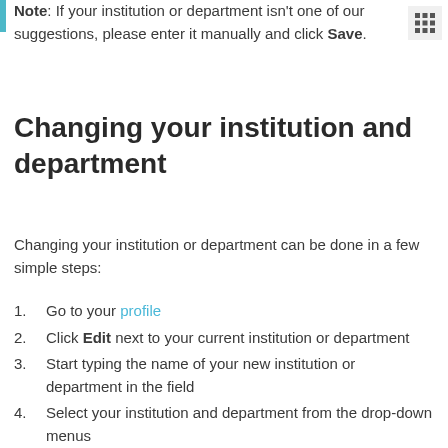Note: If your institution or department isn't one of our suggestions, please enter it manually and click Save.
Changing your institution and department
Changing your institution or department can be done in a few simple steps:
Go to your profile
Click Edit next to your current institution or department
Start typing the name of your new institution or department in the field
Select your institution and department from the drop-down menus
Click Save to confirm your changes